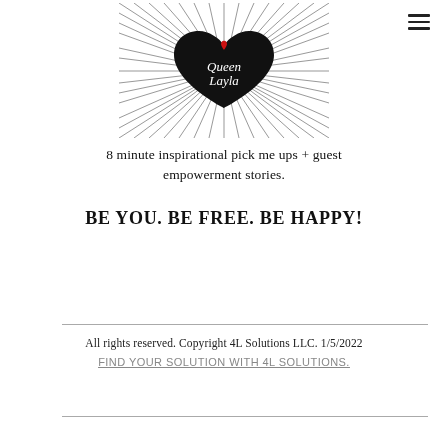[Figure (logo): Queen Layla logo: black heart shape with radiating lines (burst effect) and script text 'Queen Layla' with a red heart symbol inside]
8 minute inspirational pick me ups + guest empowerment stories.
BE YOU. BE FREE. BE HAPPY!
All rights reserved. Copyright 4L Solutions LLC. 1/5/2022
FIND YOUR SOLUTION WITH 4L SOLUTIONS.